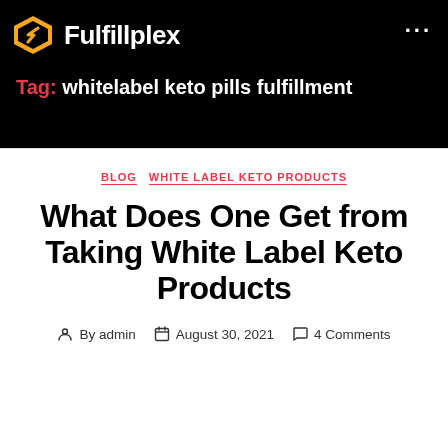Fulfillplex
Tag: whitelabel keto pills fulfillment
BLOG  WHITE LABEL KETO PRODUCTS
What Does One Get from Taking White Label Keto Products
By admin  August 30, 2021  4 Comments